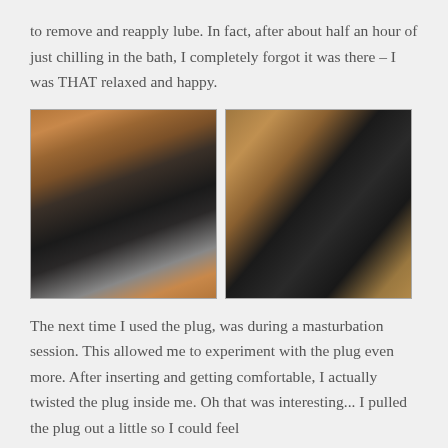to remove and reapply lube. In fact, after about half an hour of just chilling in the bath, I completely forgot it was there – I was THAT relaxed and happy.
[Figure (photo): Two photos of a black ridged/twisted silicone plug. Left photo shows a hand holding the plug against a wooden surface with a red glass in background. Right photo shows the plug lying on a wooden surface close-up showing the spiral texture.]
The next time I used the plug, was during a masturbation session. This allowed me to experiment with the plug even more. After inserting and getting comfortable, I actually twisted the plug inside me. Oh that was interesting... I pulled the plug out a little so I could feel